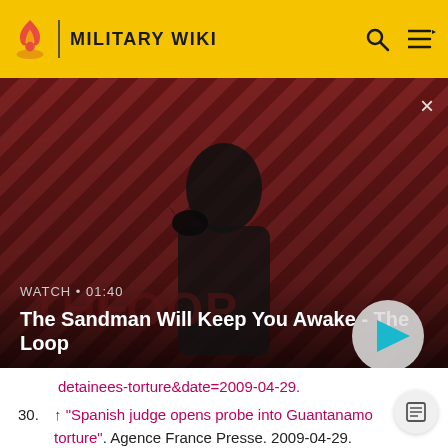MILITARY WIKI
[Figure (screenshot): Video thumbnail for 'The Sandman Will Keep You Awake - The Loop' showing a dark figure with a raven on a red/black striped background. Shows WATCH • 01:40 label and a play button.]
detainees-torture&date=2009-04-29.
30. ↑ "Spanish judge opens probe into Guantanamo torture". Agence France Presse. 2009-04-29. Archived from the original on 2009-04-29. http://www.webcitation.org/query?